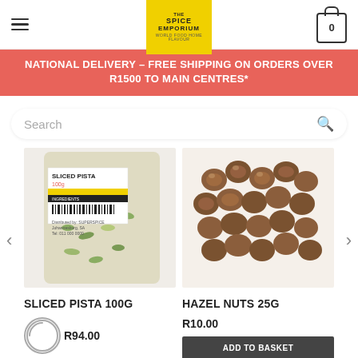[Figure (screenshot): The Spice Emporium logo on yellow background]
NATIONAL DELIVERY – FREE SHIPPING ON ORDERS OVER R1500 TO MAIN CENTRES*
Search
[Figure (photo): Sliced Pista 100g product in clear bag with yellow and black label]
[Figure (photo): Hazel Nuts 25g product in clear bag showing brown hazelnuts]
SLICED PISTA 100g
HAZEL NUTS 25G
R94.00
R10.00
ADD TO BASKET
ADD TO BASKET